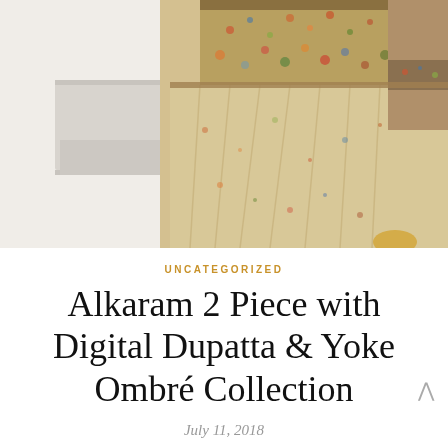[Figure (photo): A woman wearing a light golden/cream floral anarkali suit with embroidered yoke and dupatta, standing near a white wall with architectural shelving in the background.]
UNCATEGORIZED
Alkaram 2 Piece with Digital Dupatta & Yoke Ombré Collection
July 11, 2018